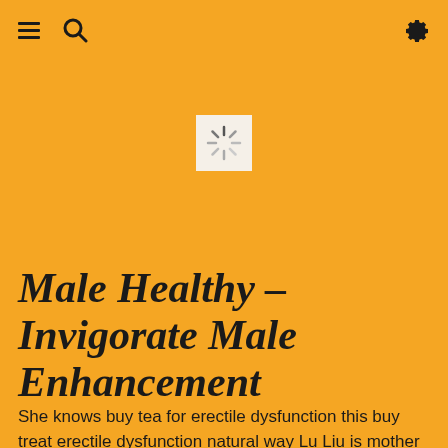☰ 🔍 ⚙
[Figure (other): Loading spinner icon — white sunburst/asterisk on a light beige square background, centered on the orange page header area]
Male Healthy – Invigorate Male Enhancement
She knows buy tea for erectile dysfunction this buy treat erectile dysfunction natural way Lu Liu is mother in law.This is coming